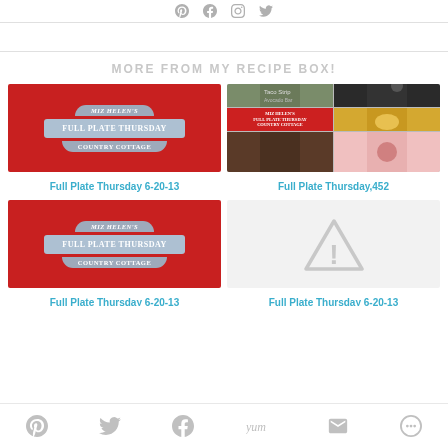Social share icons (Pinterest, Facebook, Instagram, Twitter)
MORE FROM MY RECIPE BOX!
[Figure (photo): Red banner card with Full Plate Thursday Country Cottage logo]
Full Plate Thursday 6-20-13
[Figure (photo): Collage of food photos with Full Plate Thursday logo]
Full Plate Thursday,452
[Figure (photo): Red banner card with Full Plate Thursday Country Cottage logo]
Full Plate Thursday 6-20-13
[Figure (illustration): Warning/alert triangle icon placeholder image]
Full Plate Thursday 6-20-13
Social share icons: Pinterest, Twitter, Facebook, Yum, Email, More